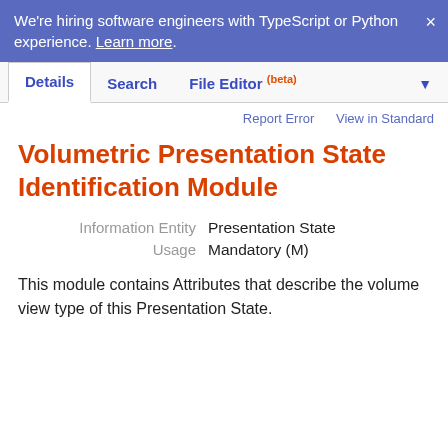We're hiring software engineers with TypeScript or Python experience. Learn more. ×
Details | Search | File Editor (beta) ▼
Report Error   View in Standard
Volumetric Presentation State Identification Module
Information Entity   Presentation State
Usage   Mandatory (M)
This module contains Attributes that describe the volume view type of this Presentation State.